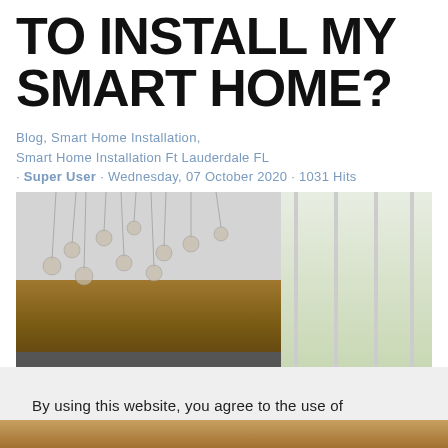TO INSTALL MY SMART HOME?
Blog, Smart Home Installation, Smart Home Installation Ft Lauderdale FL · Super User · Wednesday, 07 October 2020 · 1031 Hits
[Figure (photo): Interior photo showing a modern home with hanging pendant globe lights over a wood-paneled wall, white ceiling, and large windows on the right]
By using this website, you agree to the use of cookies as described in our Privacy Policy.
[Figure (photo): Partial bottom image of a home interior]